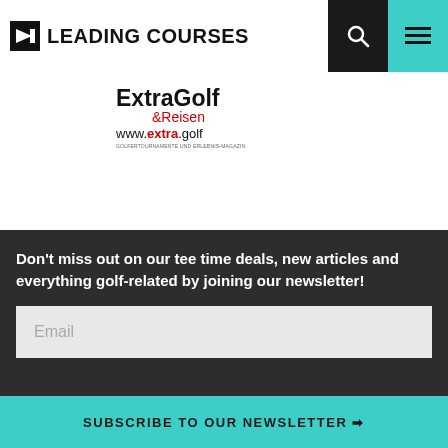[Figure (logo): Leading Courses logo with black arrow icon and bold uppercase text]
[Figure (logo): ExtraGolf & Reisen logo with website www.extra.golf and tagline]
Don't miss out on our tee time deals, new articles and everything golf-related by joining our newsletter!
Email
SUBSCRIBE TO OUR NEWSLETTER ❯